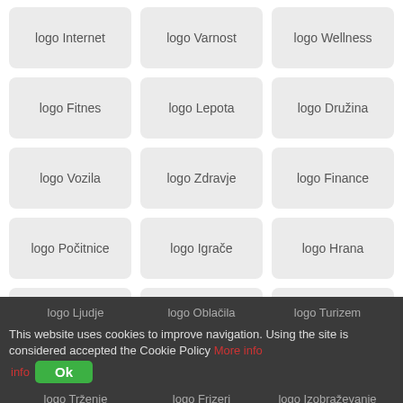[Figure (screenshot): Grid of logo placeholder buttons on a white background, 3 columns × 6 rows, each button labeled with 'logo [CategoryName]' in Slovenian. Categories: Internet, Varnost, Wellness, Fitnes, Lepota, Družina, Vozila, Zdravje, Finance, Počitnice, Igrače, Hrana, Medicinsko, Pijača, Avtomobili, Moda, Glasba, Šport]
logo Ljudje   logo Oblačila   logo Turizem
This website uses cookies to improve navigation. Using the site is considered accepted the Cookie Policy  More info  Ok
logo Trženje   logo Frizerj   logo Izobraževanje